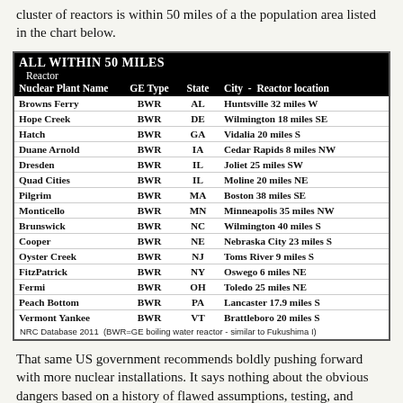cluster of reactors is within 50 miles of a the population area listed in the chart below.
| Nuclear Plant Name | Reactor GE Type | State | City - Reactor location |
| --- | --- | --- | --- |
| Browns Ferry | BWR | AL | Huntsville 32 miles W |
| Hope Creek | BWR | DE | Wilmington 18 miles SE |
| Hatch | BWR | GA | Vidalia 20 miles S |
| Duane Arnold | BWR | IA | Cedar Rapids 8 miles NW |
| Dresden | BWR | IL | Joliet 25 miles SW |
| Quad Cities | BWR | IL | Moline 20 miles NE |
| Pilgrim | BWR | MA | Boston 38 miles SE |
| Monticello | BWR | MN | Minneapolis 35 miles NW |
| Brunswick | BWR | NC | Wilmington 40 miles S |
| Cooper | BWR | NE | Nebraska City 23 miles S |
| Oyster Creek | BWR | NJ | Toms River 9 miles S |
| FitzPatrick | BWR | NY | Oswego 6 miles NE |
| Fermi | BWR | OH | Toledo 25 miles NE |
| Peach Bottom | BWR | PA | Lancaster 17.9 miles S |
| Vermont Yankee | BWR | VT | Brattleboro 20 miles S |
NRC Database 2011  (BWR=GE boiling water reactor - similar to Fukushima I)
That same US government recommends boldly pushing forward with more nuclear installations. It says nothing about the obvious dangers based on a history of flawed assumptions, testing, and performance review for the GE reactor type and the entire array